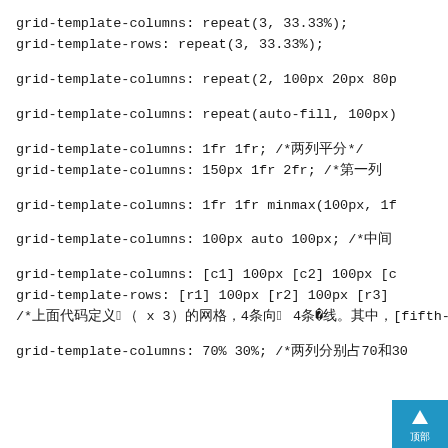grid-template-columns: repeat(3, 33.33%);
grid-template-rows: repeat(3, 33.33%);
grid-template-columns: repeat(2, 100px 20px 80p
grid-template-columns: repeat(auto-fill, 100px)
grid-template-columns: 1fr 1fr; /*两列平分*/
grid-template-columns: 150px 1fr 2fr; /*第一列
grid-template-columns: 1fr 1fr minmax(100px, 1f
grid-template-columns: 100px auto 100px; /*中间
grid-template-columns: [c1] 100px [c2] 100px [c
grid-template-rows: [r1] 100px [r2] 100px [r3]
/*上面代码定义了3（ x 3）的网格，4条向少0 4条站40线。其中，[fifth-line]和定义要求对应的是[fifth-line row-5]。*/
grid-template-columns: 70% 30%; /*两列分别占70和30